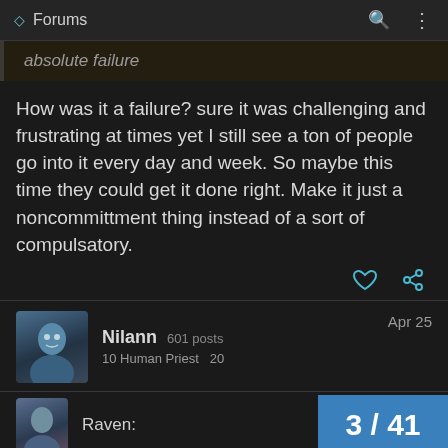Forums
absolute failure
How was it a failure? sure it was challenging and frustrating at times yet I still see a ton of people go into it every day and week. So maybe this time they could get it done right. Make it just a noncommittment thing instead of a sort of compulsatory.
Nilann 601 posts
10 Human Priest  20
Apr 25
Raven:
3 / 41